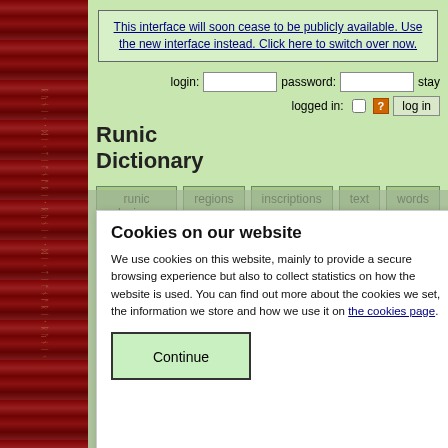[Figure (illustration): Red and dark runic decorative border on the left side with vertical runic text pattern]
This interface will soon cease to be publicly available. Use the new interface instead. Click here to switch over now.
login: [input] password: [input] stay logged in: [checkbox] [?] log in
Runic Dictionary
runic lexicon
regions
inscriptions
text
words
Einarr
Vellekla ('Lack of Gold') — Eskál Vell
Helgason
Edith Marold with the assistance of Vivian Bus... a Seidel, translated from German by John Dunks 2012. Skaldic Poetry of the Scandinavian... Diana Whal... Poetry from the Kings' Sagas 1: From Mythical... to c. 1035. Skaldic Poetry of the Scandinavian Ages 1. Turnhout: Brepols, p. 280. <https://skaldic.org/m.php?p=text&l=1181> (accessed 25 August 2022)
stanzas: 1 2 3 4 5 6 7 8 9 10 11
14 15 16 17 18 19 20 21 22 23 2
Cookies on our website
We use cookies on this website, mainly to provide a secure browsing experience but also to collect statistics on how the website is used. You can find out more about the cookies we set, the information we store and how we use it on the cookies page.
Continue